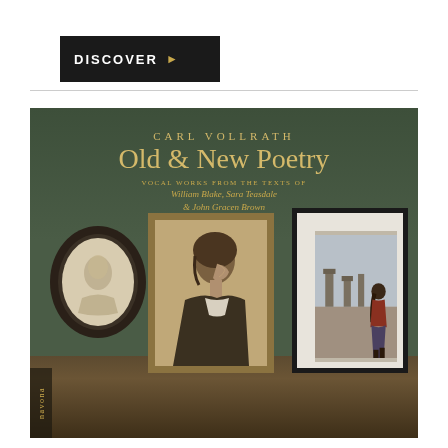DISCOVER ▶
[Figure (illustration): Album cover for Carl Vollrath 'Old & New Poetry' on Navona Records. Dark green gallery wall with three framed portraits displayed: an oval dark-framed portrait (William Blake), a gold-framed sepia photograph of a woman in profile (Sara Teasdale), and a white-matted black-framed photo of a woman viewing stonehenge ruins (John Gracen Brown). Text: CARL VOLLRATH / Old & New Poetry / VOCAL WORKS FROM THE TEXTS OF / William Blake, Sara Teasdale / & John Gracen Brown. Navona label logo bottom left.]